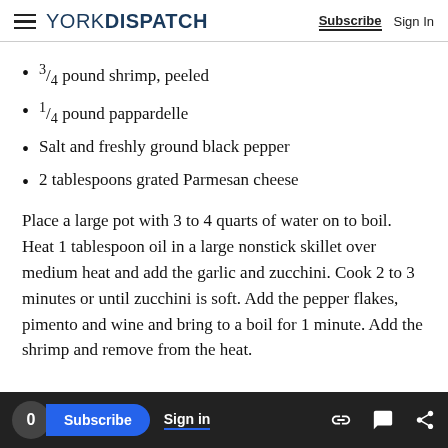YORK DISPATCH | Subscribe | Sign In
3/4 pound shrimp, peeled
1/4 pound pappardelle
Salt and freshly ground black pepper
2 tablespoons grated Parmesan cheese
Place a large pot with 3 to 4 quarts of water on to boil. Heat 1 tablespoon oil in a large nonstick skillet over medium heat and add the garlic and zucchini. Cook 2 to 3 minutes or until zucchini is soft. Add the pepper flakes, pimento and wine and bring to a boil for 1 minute. Add the shrimp and remove from the heat.
0 | Subscribe | Sign in